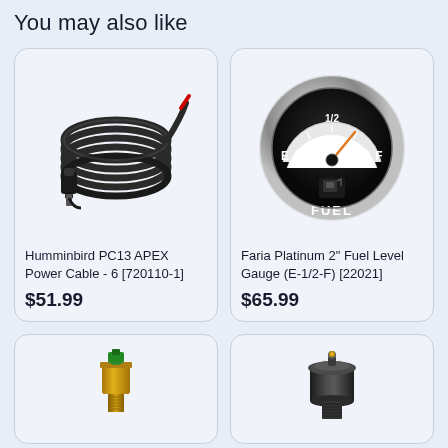You may also like
[Figure (photo): Humminbird PC13 APEX Power Cable - a coiled black cable with connector]
Humminbird PC13 APEX Power Cable - 6 [720110-1]
$51.99
[Figure (photo): Faria Platinum 2 inch Fuel Level Gauge showing E to F scale with needle near F, chrome bezel]
Faria Platinum 2" Fuel Level Gauge (E-1/2-F) [22021]
$65.99
[Figure (photo): Gold/brass colored temperature sender or sensor with green wire]
[Figure (photo): Dark metallic cylindrical oil pressure sender or sensor]